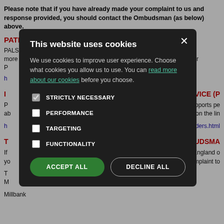Please note that if you have already made your complaint to us and response provided, you should contact the Ombudsman (as below) above.
PATIENT ADVISORY LIAISON SERVICE (PALS)
PALS provide a confidential service designed to help patients get the most out of the NHS. They can tell you more about the NHS complaints procedure and may be able to help you resolve your concern informally. Please contact them on 0300 12...
INDEPENDENT ADVOCACY SERVICE (I...)
...vice that supports people... ...an be found on the li... ...viders.html
THE PARLIAMENTARY AND HEALTH SERVICE OMBUDSMA...
If ...ctice, NHS England o... ...you ...refer your complaint to... T... M... Millbank
[Figure (screenshot): Cookie consent modal overlay on a dark semi-transparent background. The modal has a dark background with title 'This website uses cookies', description text with a link 'read more about our cookies', four checkboxes (STRICTLY NECESSARY checked, PERFORMANCE, TARGETING, FUNCTIONALITY unchecked), and two buttons: ACCEPT ALL (green) and DECLINE ALL (outlined).]